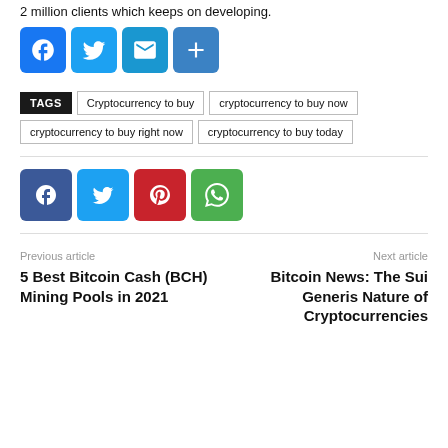2 million clients which keeps on developing.
[Figure (infographic): Social share buttons row: Facebook (blue), Twitter (light blue), Email (blue), Plus/Share (blue)]
TAGS  Cryptocurrency to buy  cryptocurrency to buy now  cryptocurrency to buy right now  cryptocurrency to buy today
[Figure (infographic): Social share buttons row: Facebook (dark blue), Twitter (cyan), Pinterest (red), WhatsApp (green)]
Previous article
5 Best Bitcoin Cash (BCH) Mining Pools in 2021
Next article
Bitcoin News: The Sui Generis Nature of Cryptocurrencies